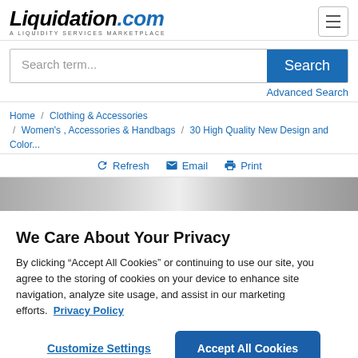[Figure (logo): Liquidation.com logo with 'A LIQUIDITY SERVICES MARKETPLACE' tagline]
Search term...
Search
Advanced Search
Home / Clothing & Accessories / Women's , Accessories & Handbags / 30 High Quality New Design and Color...
Refresh  Email  Print
[Figure (photo): Partial product image strip, grey tones]
We Care About Your Privacy
By clicking “Accept All Cookies” or continuing to use our site, you agree to the storing of cookies on your device to enhance site navigation, analyze site usage, and assist in our marketing efforts.  Privacy Policy
Customize Settings
Accept All Cookies